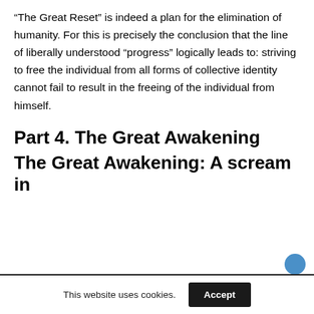“The Great Reset” is indeed a plan for the elimination of humanity. For this is precisely the conclusion that the line of liberally understood “progress” logically leads to: striving to free the individual from all forms of collective identity cannot fail to result in the freeing of the individual from himself.
Part 4. The Great Awakening
The Great Awakening: A scream in
This website uses cookies.